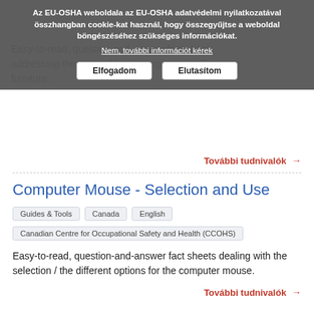Az EU-OSHA weboldala az EU-OSHA adatvédelmi nyilatkozatával összhangban cookie-kat használ, hogy összegyűjtse a weboldal böngészéséhez szükséges információkat.
Nem, további információt kérek
Elfogadom | Elutasítom
Easy-to-read, question-and-answer fact sheet addressing the issue of buying ergonomic office furniture.
További tudnivalók →
Computer Mouse - Selection and Use
Guides & Tools | Canada | English
Canadian Centre for Occupational Safety and Health (CCOHS)
Easy-to-read, question-and-answer fact sheets dealing with the selection / the different options for the computer mouse.
További tudnivalók →